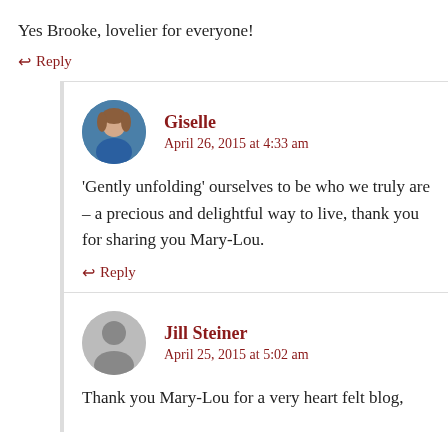Yes Brooke, lovelier for everyone!
↩ Reply
Giselle
April 26, 2015 at 4:33 am
'Gently unfolding' ourselves to be who we truly are – a precious and delightful way to live, thank you for sharing you Mary-Lou.
↩ Reply
Jill Steiner
April 25, 2015 at 5:02 am
Thank you Mary-Lou for a very heart felt blog,